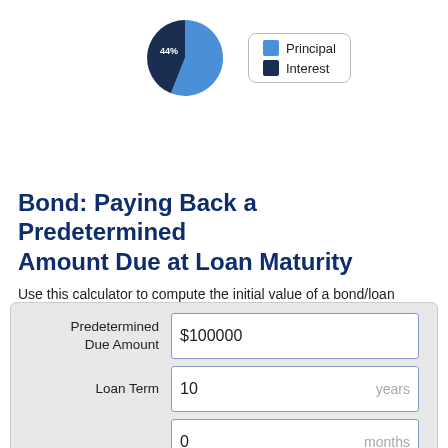[Figure (donut-chart): Principal vs Interest]
Bond: Paying Back a Predetermined Amount Due at Loan Maturity
Use this calculator to compute the initial value of a bond/loan based on a predetermined face value to be paid back at bond/loan maturity.
| Field | Value | Unit |
| --- | --- | --- |
| Predetermined Due Amount | $100000 |  |
| Loan Term | 10 | years |
|  | 0 | months |
| Interest Rate | 6 | % |